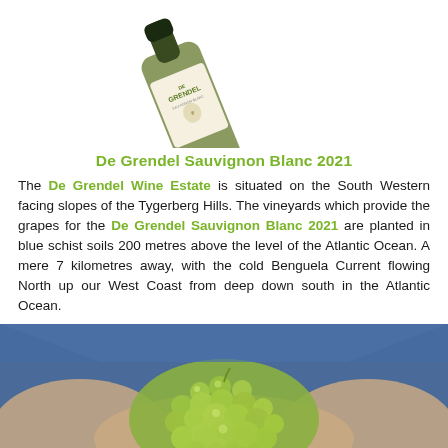[Figure (photo): A wine bottle of De Grendel Sauvignon Blanc 2021 photographed diagonally against a white background]
De Grendel Sauvignon Blanc 2021
The De Grendel Wine Estate is situated on the South Western facing slopes of the Tygerberg Hills. The vineyards which provide the grapes for the De Grendel Sauvignon Blanc 2021 are planted in blue schist soils 200 metres above the level of the Atlantic Ocean. A mere 7 kilometres away, with the cold Benguela Current flowing North up our West Coast from deep down south in the Atlantic Ocean.
[Figure (photo): Close-up photo of a person's hands holding a cluster of green/white grapes]